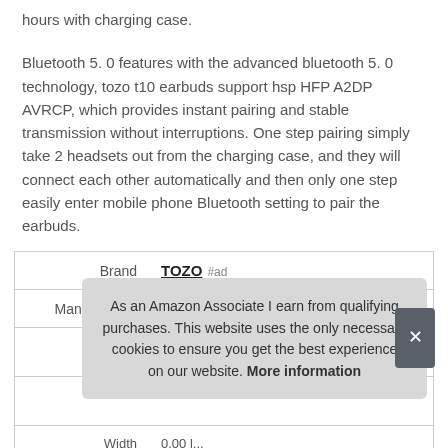hours with charging case.
Bluetooth 5. 0 features with the advanced bluetooth 5. 0 technology, tozo t10 earbuds support hsp HFP A2DP AVRCP, which provides instant pairing and stable transmission without interruptions. One step pairing simply take 2 headsets out from the charging case, and they will connect each other automatically and then only one step easily enter mobile phone Bluetooth setting to pair the earbuds.
|  |  |
| --- | --- |
| Brand | TOZO #ad |
| Manufacturer | TOZO #ad |
As an Amazon Associate I earn from qualifying purchases. This website uses the only necessary cookies to ensure you get the best experience on our website. More information